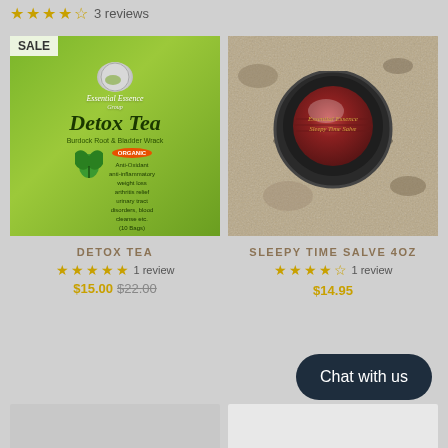★★★★☆ 3 reviews
[Figure (photo): Detox Tea product image with green background, SALE badge, Essential Essence branding, Burdock Root & Bladder Wrack, ORGANIC badge]
[Figure (photo): Sleepy Time Salve 4oz tin on granite surface, dark circular tin with red label]
DETOX TEA
SLEEPY TIME SALVE 4OZ
★★★★★ 1 review
★★★★☆ 1 review
$15.00 $22.00
$14.95
Chat with us